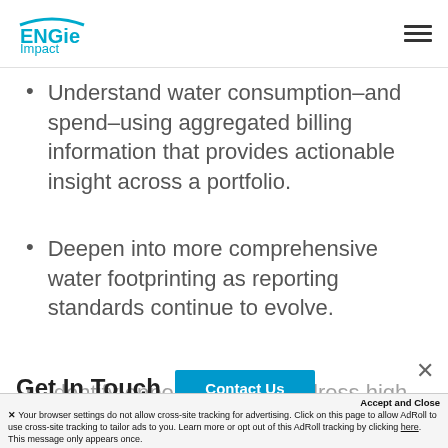ENGIE Impact [logo with hamburger menu]
Understand water consumption–and spend–using aggregated billing information that provides actionable insight across a portfolio.
Deepen into more comprehensive water footprinting as reporting standards continue to evolve.
Identify opportunities to address high
Get In Touch
Contact Us
Accept and Close
✕ Your browser settings do not allow cross-site tracking for advertising. Click on this page to allow AdRoll to use cross-site tracking to tailor ads to you. Learn more or opt out of this AdRoll tracking by clicking here. This message only appears once.